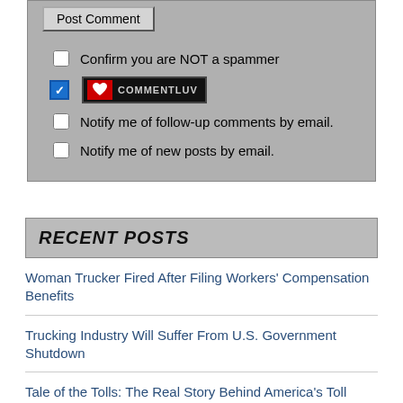[Figure (screenshot): Comment form area with Post Comment button, spam confirmation checkbox, CommentLuv badge, and email notification checkboxes]
Recent Posts
Woman Trucker Fired After Filing Workers' Compensation Benefits
Trucking Industry Will Suffer From U.S. Government Shutdown
Tale of the Tolls: The Real Story Behind America's Toll Roads-Info Video
Watch The World's First Truck Driving Hamster Steer A Volvo Truck-Video
Falsifying Commercial Truck Driver Drug Test Results-Woman Could Get 20 Years Lock Up